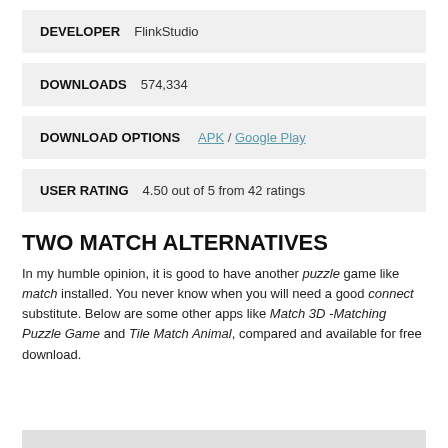DEVELOPER   FlinkStudio
DOWNLOADS   574,334
DOWNLOAD OPTIONS   APK / Google Play
USER RATING   4.50 out of 5 from 42 ratings
TWO MATCH ALTERNATIVES
In my humble opinion, it is good to have another puzzle game like match installed. You never know when you will need a good connect substitute. Below are some other apps like Match 3D -Matching Puzzle Game and Tile Match Animal, compared and available for free download.